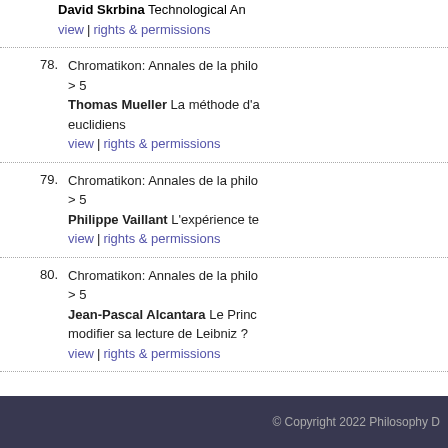David Skrbina Technological An... view | rights & permissions
78. Chromatikon: Annales de la philo... > 5 Thomas Mueller La méthode d'a... euclidiens view | rights & permissions
79. Chromatikon: Annales de la philo... > 5 Philippe Vaillant L'expérience te... view | rights & permissions
80. Chromatikon: Annales de la philo... > 5 Jean-Pascal Alcantara Le Princ... modifier sa lecture de Leibniz ? view | rights & permissions
© Copyright 2022 Philosophy D...